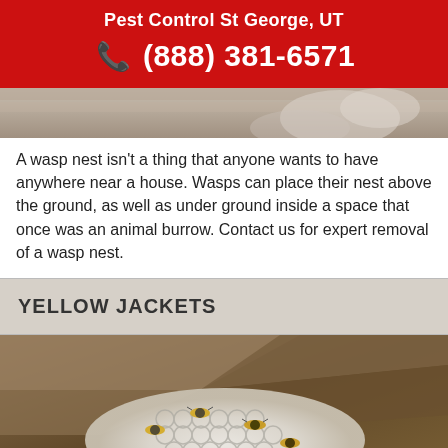Pest Control St George, UT
(888) 381-6571
[Figure (photo): Top portion of a wasp nest photo, cropped — showing partial wasp nest against wood background]
A wasp nest isn't a thing that anyone wants to have anywhere near a house. Wasps can place their nest above the ground, as well as under ground inside a space that once was an animal burrow. Contact us for expert removal of a wasp nest.
YELLOW JACKETS
[Figure (photo): Photo of yellow jackets on a wasp/yellow jacket nest with white honeycomb cells, nestled against wooden eaves or boards]